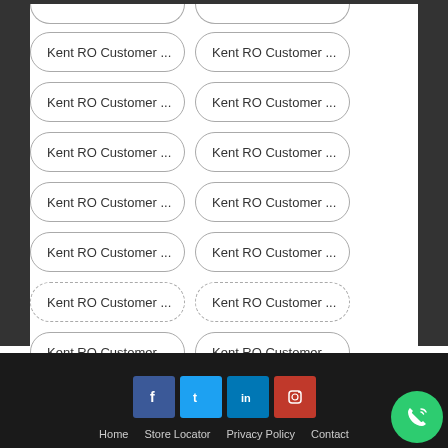Kent RO Customer ...
Kent RO Customer ...
Kent RO Customer ...
Kent RO Customer ...
Kent RO Customer ...
Kent RO Customer ...
Kent RO Customer ...
Kent RO Customer ...
Kent RO Customer ...
Kent RO Customer ...
Kent RO Customer ...
Kent RO Customer ...
Kent RO Customer ...
Kent RO Customer ...
Vie...
Home  Store Locator  Privacy Policy  Contact